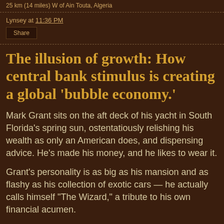25 km (14 miles) W of Ain Touta, Algeria
Lynsey at 11:36 PM
Share
The illusion of growth: How central bank stimulus is creating a global 'bubble economy.'
Mark Grant sits on the aft deck of his yacht in South Florida's spring sun, ostentatiously relishing his wealth as only an American does, and dispensing advice. He's made his money, and he likes to wear it.
Grant's personality is as big as his mansion and as flashy as his collection of exotic cars — he actually calls himself "The Wizard," a tribute to his own financial acumen.
While we are talking, his cellphone rings intermittently, and the callers are usually serious moneymen, Bill Gross of